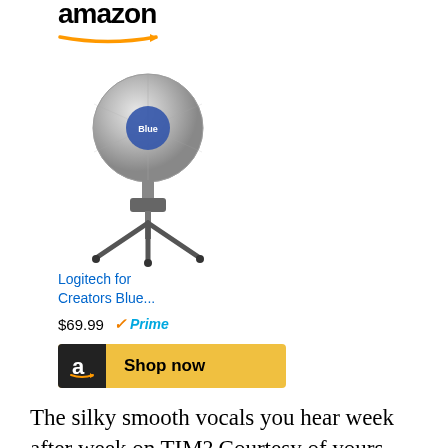[Figure (logo): Amazon logo with stylized text and orange arrow swoosh beneath]
[Figure (photo): Blue Snowball USB microphone on a small tripod stand]
Logitech for Creators Blue...
$69.99  ✓Prime
[Figure (other): Shop now button with Amazon 'a' icon on black background and yellow button]
The silky smooth vocals you hear week after week on TIM? Courtesy of yours truly, and this simple plug-and-play USB microphone. Highly recommended for gamers, podcasters, voiceover artists, or just better Skype calls. You can't beat it for this price.